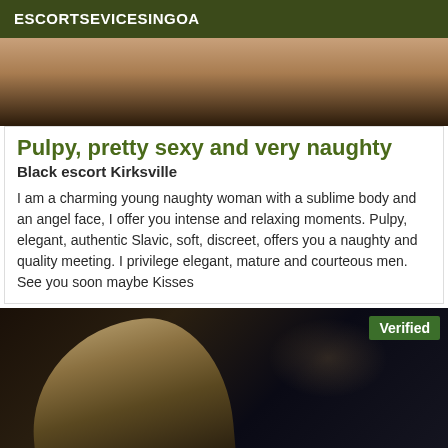ESCORTSEVICESINGOA
[Figure (photo): Cropped photo showing a person's body against a dark background]
Pulpy, pretty sexy and very naughty
Black escort Kirksville
I am a charming young naughty woman with a sublime body and an angel face, I offer you intense and relaxing moments. Pulpy, elegant, authentic Slavic, soft, discreet, offers you a naughty and quality meeting. I privilege elegant, mature and courteous men. See you soon maybe Kisses
[Figure (photo): Photo of a woman with long blonde/brown hair in a dark outdoor night setting with city lights in background. A 'Verified' badge appears in the top right corner.]